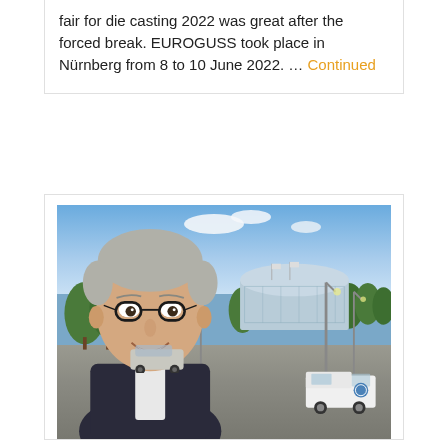fair for die casting 2022 was great after the forced break. EUROGUSS took place in Nürnberg from 8 to 10 June 2022. … Continued
[Figure (photo): Selfie of a middle-aged man with short gray hair and round dark-framed glasses, wearing a dark blazer and white shirt, smiling at the camera. Background shows a parking lot, trees, a modern glass building (exhibition/trade fair hall), and a white van, under a blue sky with white clouds. Likely taken outside the EUROGUSS 2022 trade fair in Nürnberg.]